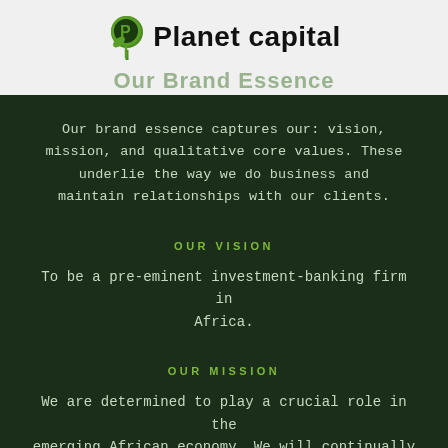[Figure (logo): Planet Capital logo with green leaf/coin icon and bold text 'Planet capital']
Our Brand Essence
Our brand essence captures our: vision, mission, and qualitative core values. These underlie the way we do business and maintain relationships with our clients.
OUR VISION
To be a pre-eminent investment-banking firm in Africa.
OUR MISSION
We are determined to play a crucial role in the emerging African economy. We will continually